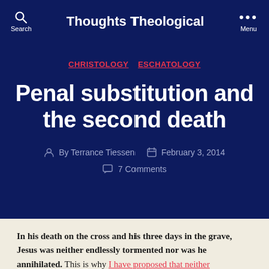Thoughts Theological
CHRISTOLOGY  ESCHATOLOGY
Penal substitution and the second death
By Terrance Tiessen   February 3, 2014   7 Comments
In his death on the cross and his three days in the grave, Jesus was neither endlessly tormented nor was he annihilated. This is why I have proposed that neither